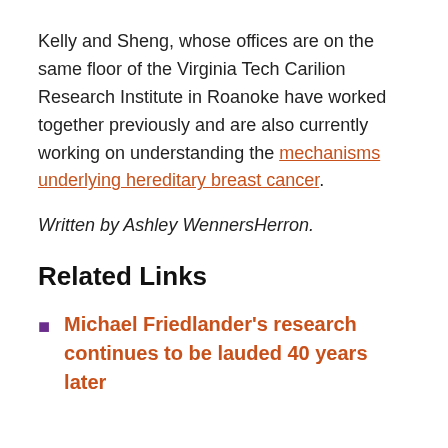Kelly and Sheng, whose offices are on the same floor of the Virginia Tech Carilion Research Institute in Roanoke have worked together previously and are also currently working on understanding the mechanisms underlying hereditary breast cancer.
Written by Ashley WennersHerron.
Related Links
Michael Friedlander's research continues to be lauded 40 years later